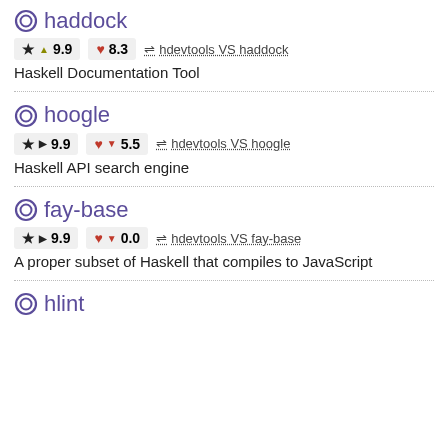haddock
★ ▲ 9.9   ♥ 8.3   ⇌ hdevtools VS haddock
Haskell Documentation Tool
hoogle
★ ▶ 9.9   ♥ ▼ 5.5   ⇌ hdevtools VS hoogle
Haskell API search engine
fay-base
★ ▶ 9.9   ♥ ▼ 0.0   ⇌ hdevtools VS fay-base
A proper subset of Haskell that compiles to JavaScript
hlint